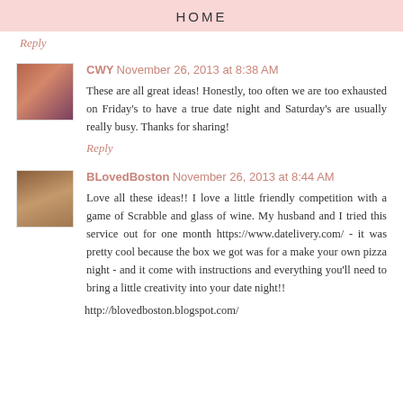HOME
Reply
CWY November 26, 2013 at 8:38 AM
These are all great ideas! Honestly, too often we are too exhausted on Friday's to have a true date night and Saturday's are usually really busy. Thanks for sharing!
Reply
BLovedBoston November 26, 2013 at 8:44 AM
Love all these ideas!! I love a little friendly competition with a game of Scrabble and glass of wine. My husband and I tried this service out for one month https://www.datelivery.com/ - it was pretty cool because the box we got was for a make your own pizza night - and it come with instructions and everything you'll need to bring a little creativity into your date night!!
http://blovedboston.blogspot.com/